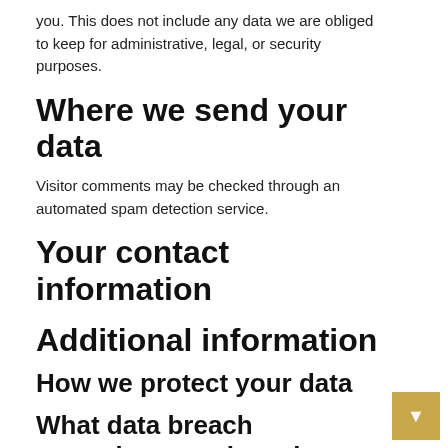you. This does not include any data we are obliged to keep for administrative, legal, or security purposes.
Where we send your data
Visitor comments may be checked through an automated spam detection service.
Your contact information
Additional information
How we protect your data
What data breach procedures we have in place
What thi...